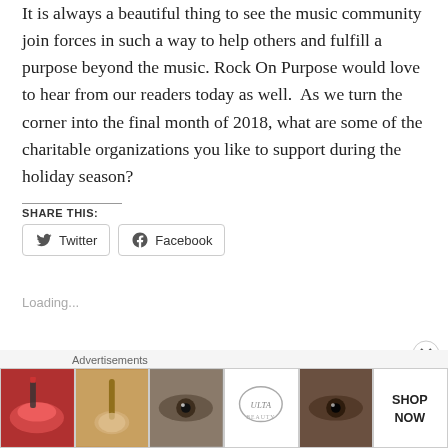It is always a beautiful thing to see the music community join forces in such a way to help others and fulfill a purpose beyond the music. Rock On Purpose would love to hear from our readers today as well. As we turn the corner into the final month of 2018, what are some of the charitable organizations you like to support during the holiday season?
SHARE THIS:
Twitter
Facebook
Loading...
[Figure (infographic): Advertisement banner showing beauty/makeup images including lips, brush, eye, Ulta Beauty logo, eye closeup, and SHOP NOW text]